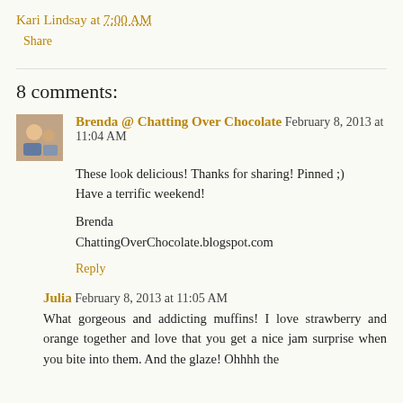Kari Lindsay at 7:00 AM
Share
8 comments:
Brenda @ Chatting Over Chocolate  February 8, 2013 at 11:04 AM
These look delicious! Thanks for sharing! Pinned ;)
Have a terrific weekend!

Brenda
ChattingOverChocolate.blogspot.com
Reply
Julia  February 8, 2013 at 11:05 AM
What gorgeous and addicting muffins! I love strawberry and orange together and love that you get a nice jam surprise when you bite into them. And the glaze! Ohhhh the